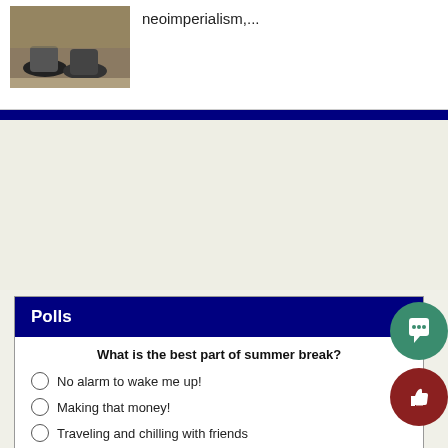[Figure (photo): A small photo showing feet/shoes on the ground]
neoimperialism,...
Polls
What is the best part of summer break?
No alarm to wake me up!
Making that money!
Traveling and chilling with friends
Nothing - I miss school!